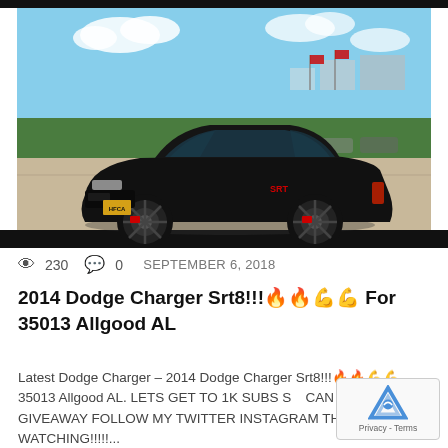[Figure (photo): A black 2014 Dodge Charger SRT8 parked in a dealership lot on a concrete surface. Green lawn and blue sky with clouds in the background. Cars and dealership buildings visible in the distance.]
230  0  SEPTEMBER 6, 2018
2014 Dodge Charger Srt8!!!🔥🔥💪💪 For 35013 Allgood AL
Latest Dodge Charger – 2014 Dodge Charger Srt8!!!🔥🔥💪💪 – 35013 Allgood AL. LETS GET TO 1K SUBS SO CAN DO A GIVEAWAY FOLLOW MY TWITTER INSTAGRAM THANKS FOR WATCHING!!!!!...